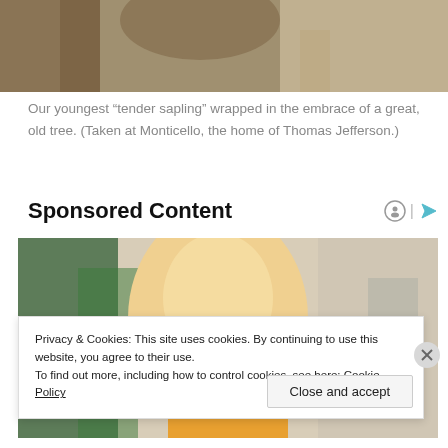[Figure (photo): Top portion of a photo showing a child wrapped in the embrace of a large old tree, taken at Monticello]
Our youngest “tender sapling” wrapped in the embrace of a great, old tree. (Taken at Monticello, the home of Thomas Jefferson.)
Sponsored Content
[Figure (photo): Advertisement photo showing a blonde woman in a yellow sweater looking downward, with green plants in background]
Privacy & Cookies: This site uses cookies. By continuing to use this website, you agree to their use.
To find out more, including how to control cookies, see here: Cookie Policy
Close and accept